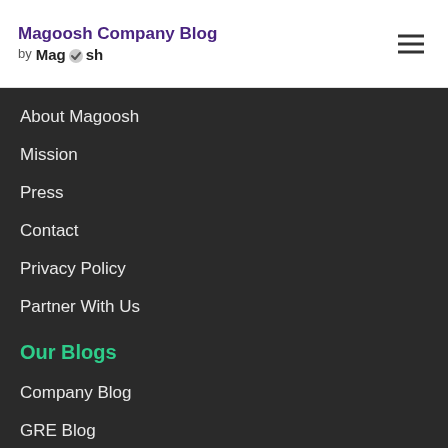Magoosh Company Blog by Magoosh
About Magoosh
Mission
Press
Contact
Privacy Policy
Partner With Us
Our Blogs
Company Blog
GRE Blog
GMAT Blog
TOEFL Blog
SAT Blog